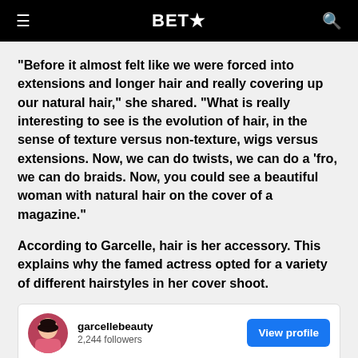BET★
“Before it almost felt like we were forced into extensions and longer hair and really covering up our natural hair,” she shared. “What is really interesting to see is the evolution of hair, in the sense of texture versus non-texture, wigs versus extensions. Now, we can do twists, we can do a ‘fro, we can do braids. Now, you could see a beautiful woman with natural hair on the cover of a magazine.”
According to Garcelle, hair is her accessory. This explains why the famed actress opted for a variety of different hairstyles in her cover shoot.
[Figure (other): Instagram profile card for garcellebeauty with 2,244 followers and a View profile button]